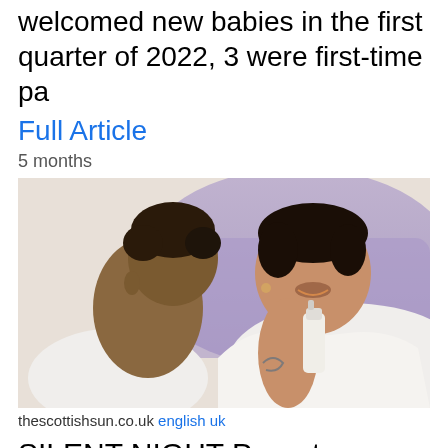welcomed new babies in the first quarter of 2022, 3 were first-time pa
Full Article
5 months
[Figure (photo): A woman with short curly hair holding a baby and a white spray bottle, sitting on a bed with purple and white bedding]
thescottishsun.co.uk english uk
SILENT NIGHT Parents swear by a new pillow spray they say gets babies to sleep in minutes